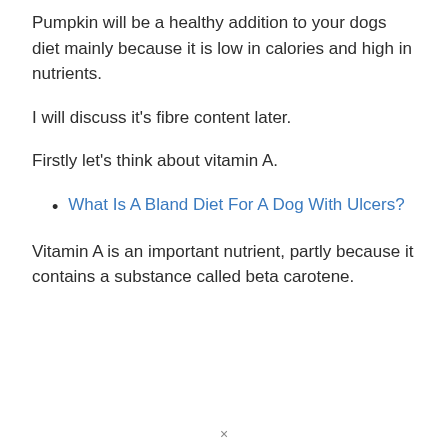Pumpkin will be a healthy addition to your dogs diet mainly because it is low in calories and high in nutrients.
I will discuss it's fibre content later.
Firstly let's think about vitamin A.
What Is A Bland Diet For A Dog With Ulcers?
Vitamin A is an important nutrient, partly because it contains a substance called beta carotene.
×